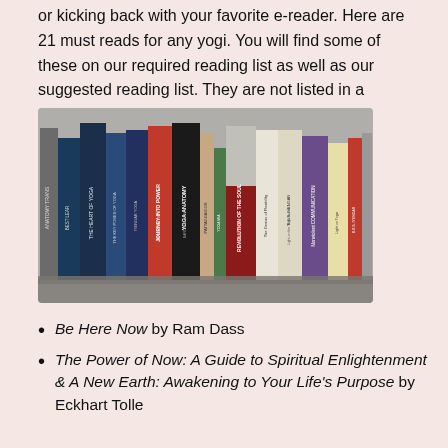or kicking back with your favorite e-reader. Here are 21 must reads for any yogi. You will find some of these on our required reading list as well as our suggested reading list. They are not listed in a particular order.
[Figure (photo): A bookshelf with multiple yoga and spirituality books standing upright, including titles such as The Heart of Yoga, The Key Poses of Yoga, Journey Into Power by Baron Baptiste, Yoga Anatomy, Revolution of the Soul, The Genius of Flexibility, B.K.S. Iyengar Light on the Yoga Sutras of Patanjali, Nonviolent Communication, and others.]
Be Here Now by Ram Dass
The Power of Now: A Guide to Spiritual Enlightenment & A New Earth: Awakening to Your Life's Purpose by Eckhart Tolle